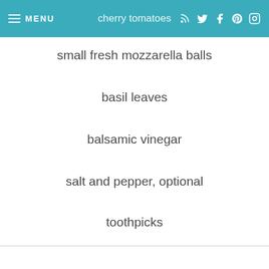MENU | cherry tomatoes
small fresh mozzarella balls
basil leaves
balsamic vinegar
salt and pepper, optional
toothpicks